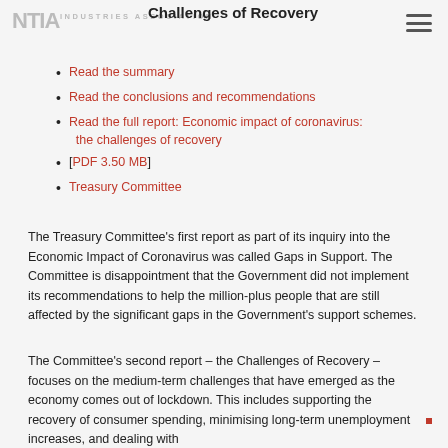NTIA INDUSTRIES ASSOCIATION
Challenges of Recovery
Read the summary
Read the conclusions and recommendations
Read the full report: Economic impact of coronavirus: the challenges of recovery
[PDF 3.50 MB]
Treasury Committee
The Treasury Committee's first report as part of its inquiry into the Economic Impact of Coronavirus was called Gaps in Support. The Committee is disappointment that the Government did not implement its recommendations to help the million-plus people that are still affected by the significant gaps in the Government's support schemes.
The Committee's second report – the Challenges of Recovery – focuses on the medium-term challenges that have emerged as the economy comes out of lockdown. This includes supporting the recovery of consumer spending, minimising long-term unemployment increases, and dealing with